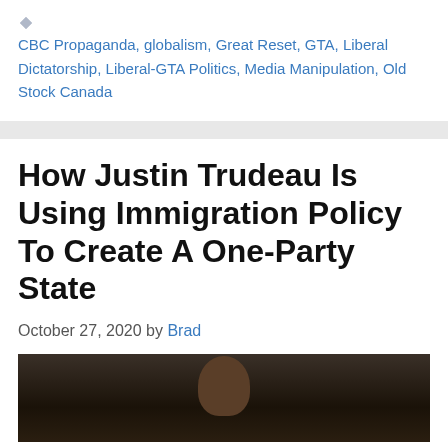CBC Propaganda, globalism, Great Reset, GTA, Liberal Dictatorship, Liberal-GTA Politics, Media Manipulation, Old Stock Canada
How Justin Trudeau Is Using Immigration Policy To Create A One-Party State
October 27, 2020 by Brad
[Figure (photo): Photo of Justin Trudeau, partially visible, dark background]